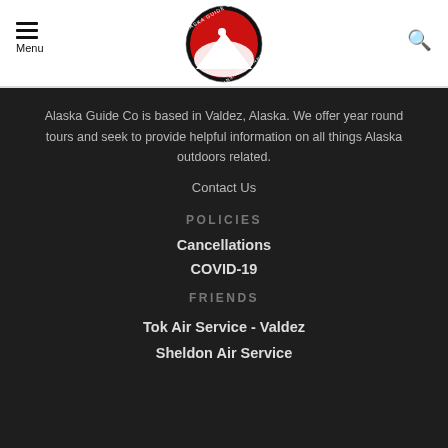[Figure (logo): Alaska Guide Co Wilderness Adventures circular logo with red background and white hiker silhouette]
≡ Menu
🔍
Alaska Guide Co is based in Valdez, Alaska. We offer year round tours and seek to provide helpful information on all things Alaska outdoors related.
Contact Us
POLICIES
Cancellations
COVID-19
FRIENDS
Tok Air Service - Valdez
Sheldon Air Service